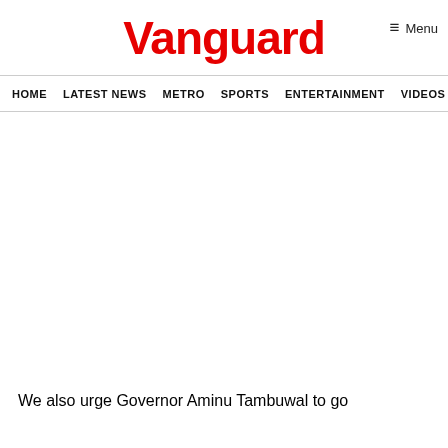Vanguard
≡ Menu
HOME  LATEST NEWS  METRO  SPORTS  ENTERTAINMENT  VIDEOS
We also urge Governor Aminu Tambuwal to go